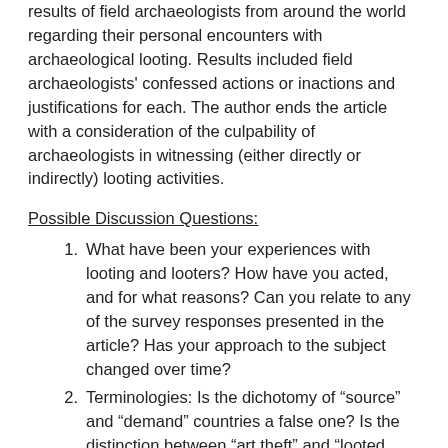results of field archaeologists from around the world regarding their personal encounters with archaeological looting. Results included field archaeologists' confessed actions or inactions and justifications for each. The author ends the article with a consideration of the culpability of archaeologists in witnessing (either directly or indirectly) looting activities.
Possible Discussion Questions:
What have been your experiences with looting and looters? How have you acted, and for what reasons? Can you relate to any of the survey responses presented in the article? Has your approach to the subject changed over time?
Terminologies: Is the dichotomy of “source” and “demand” countries a false one? Is the distinction between “art theft” and “looted antiquity” legitimate, given that many “identifiable object[s] owned by someone” were originally looted? What do you think of the term “subsistence digging” in relation to the archaeological extraction of